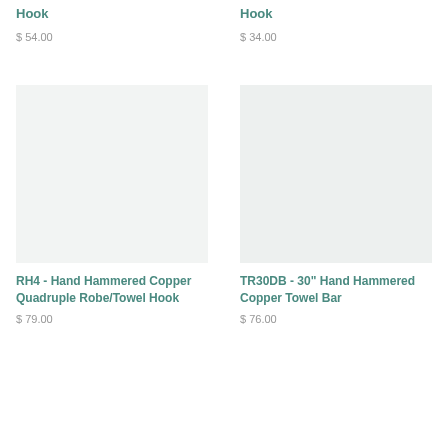Hook
$ 54.00
Hook
$ 34.00
[Figure (photo): Product image placeholder for RH4 - Hand Hammered Copper Quadruple Robe/Towel Hook]
RH4 - Hand Hammered Copper Quadruple Robe/Towel Hook
$ 79.00
[Figure (photo): Product image placeholder for TR30DB - 30" Hand Hammered Copper Towel Bar]
TR30DB - 30" Hand Hammered Copper Towel Bar
$ 76.00